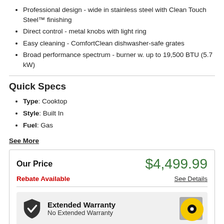Professional design - wide in stainless steel with Clean Touch Steel™ finishing
Direct control - metal knobs with light ring
Easy cleaning - ComfortClean dishwasher-safe grates
Broad performance spectrum - burner w. up to 19,500 BTU (5.7 kW)
Quick Specs
Type: Cooktop
Style: Built In
Fuel: Gas
See More
Our Price $4,499.99
Rebate Available
See Details
Extended Warranty
No Extended Warranty